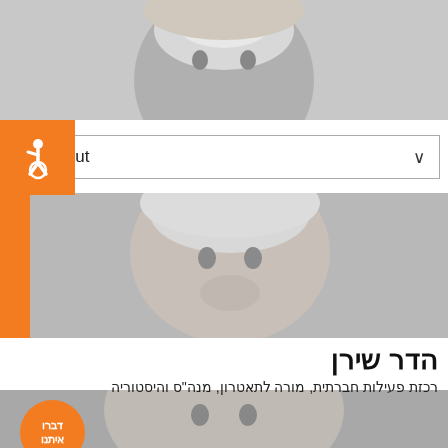[Figure (photo): Black and white close-up photo of a blonde woman's face, cropped at top of page]
[Figure (logo): Orange square with white wheelchair accessibility icon]
About
[Figure (photo): Black and white close-up photo of a woman with light hair, orange strip on left side]
הדר שירן
רכזת פעילות חברתית, מורה לתאטרון, מנה"ס והיסטוריה
[Figure (photo): Black and white photo of a dark-haired woman with orange chat bubble overlay saying דברו איתנו]